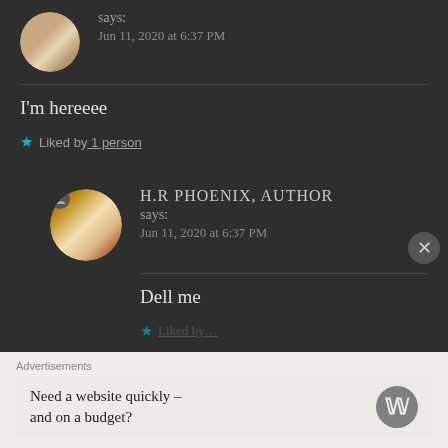says:
Jun 11, 2020 at 6:37 PM
I'm hereeee
Liked by 1 person
H.R PHOENIX, AUTHOR
says:
Jun 11, 2020 at 6:37 PM
Dell me
Advertisements
Need a website quickly – and on a budget?